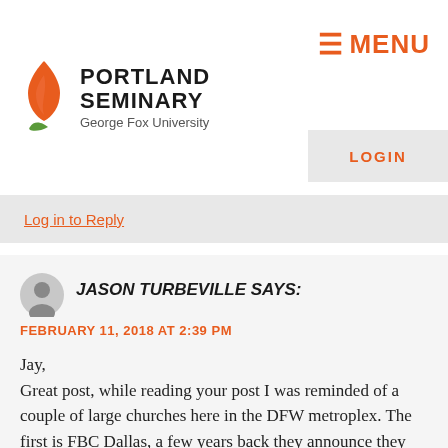PORTLAND SEMINARY George Fox University
Log in to Reply
JASON TURBEVILLE SAYS:
FEBRUARY 11, 2018 AT 2:39 PM

Jay,
Great post, while reading your post I was reminded of a couple of large churches here in the DFW metroplex. The first is FBC Dallas, a few years back they announce they had paid off their 50 million dollar...